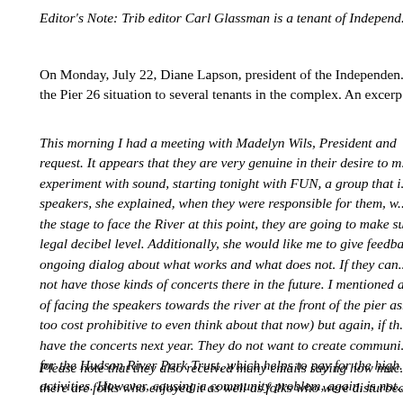Editor's Note: Trib editor Carl Glassman is a tenant of Independ...
On Monday, July 22, Diane Lapson, president of the Independen... the Pier 26 situation to several tenants in the complex. An excerp...
This morning I had a meeting with Madelyn Wils, President and ... request. It appears that they are very genuine in their desire to m... experiment with sound, starting tonight with FUN, a group that i... speakers, she explained, when they were responsible for them, w... the stage to face the River at this point, they are going to make s... legal decibel level. Additionally, she would like me to give feedb... ongoing dialog about what works and what does not. If they can... not have those kinds of concerts there in the future. I mentioned ... of facing the speakers towards the river at the front of the pier as... too cost prohibitive to even think about that now) but again, if th... have the concerts next year. They do not want to create communi... for the Hudson River Park Trust, which helps to pay for the high... activities. However, causing a community problem, again, is not...
Please note that they also received many emails saying how muc... there are folks who enjoyed it as well as folks who were disturbed... folks who enjoyed it live at Independence Plaza or the surroundi...